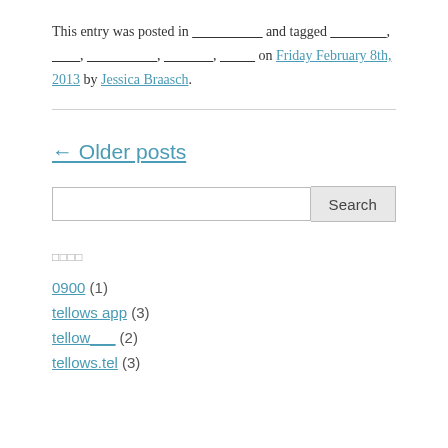This entry was posted in __________ and tagged ________, ____, __________, _______, _____ on Friday February 8th, 2013 by Jessica Braasch.
← Older posts
[search box with Search button]
Tags (small icon squares)
0900 (1)
tellows app (3)
tellow___ (2)
tellows.tel (3) [partial]